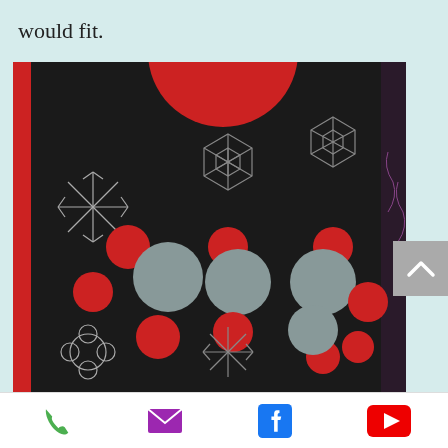would fit.
[Figure (photo): A quilt featuring water molecule shapes (red and grey circles arranged as H2O) on a dark background with snowflake and geometric quilting patterns. A large red circle is visible at the top center.]
I had water molecules in one section and was excited to find that there had been a study in...
Phone, Email, Facebook, YouTube icons